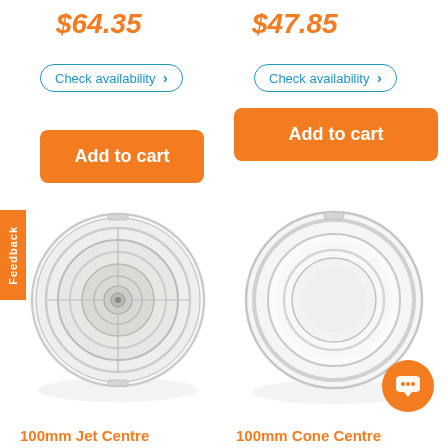$64.35
$47.85
Check availability >
Check availability >
Add to cart
Add to cart
Feedback
[Figure (photo): 100mm Jet Centre circular ceiling diffuser/vent, white plastic, viewed from below showing concentric rings]
[Figure (photo): 100mm Cone Centre circular ceiling vent/ring, white plastic, viewed from below showing open ring design]
100mm Jet Centre
100mm Cone Centre